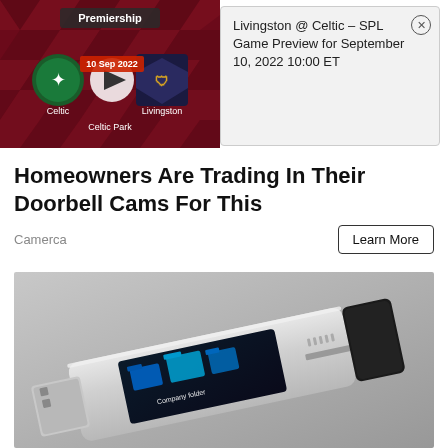[Figure (screenshot): Soccer game preview widget showing Celtic vs Livingston - SPL Premiership match at Celtic Park, with team logos and a play button]
Livingston @ Celtic – SPL Game Preview for September 10, 2022 10:00 ET
Homeowners Are Trading In Their Doorbell Cams For This
Camerca
Learn More
[Figure (photo): Product photo of a USB flash drive with a touchscreen display showing file folders, on a gray background]